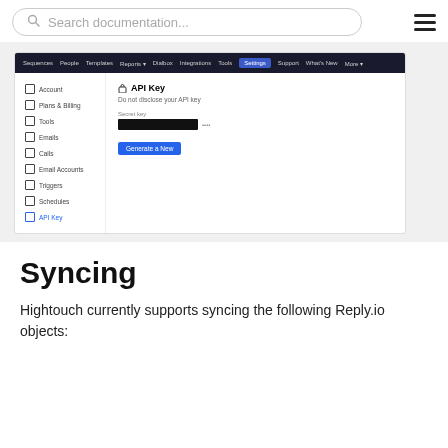[Figure (screenshot): Search bar at top of documentation page with hamburger menu icon on the right]
[Figure (screenshot): Screenshot of Reply.io Settings > API Key page, showing navigation bar with Sequences, People, Templates, Reports, Dialbox, Integrations, Tools, Settings (active), Support, What's New, More. Left sidebar shows Account, Plans & Billing, Tools, Emails, Calls, Email Accounts, Triggers, Schedules, API Key (active/highlighted). Main content shows API Key section with a redacted key and Generate a New button.]
Syncing
Hightouch currently supports syncing the following Reply.io objects: